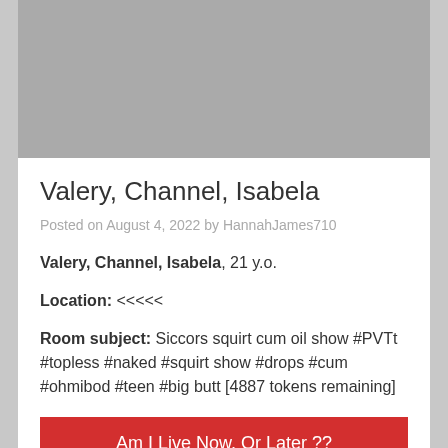[Figure (photo): Gray placeholder image area at the top of the page]
Valery, Channel, Isabela
Posted on August 4, 2022 by HannahJames710
Valery, Channel, Isabela, 21 y.o.
Location: <<<<<
Room subject: Siccors squirt cum oil show #PVTt #topless #naked #squirt show #drops #cum #ohmibod #teen #big butt [4887 tokens remaining]
Am I Live Now, Or Later ??